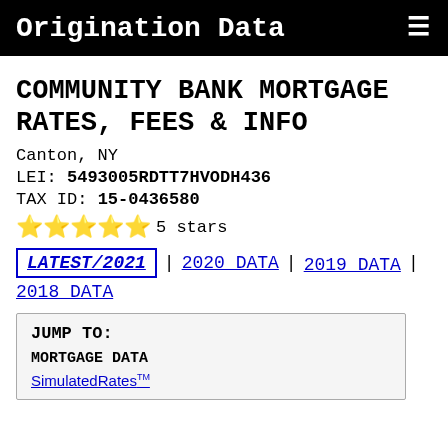Origination Data
COMMUNITY BANK MORTGAGE RATES, FEES & INFO
Canton, NY
LEI: 5493005RDTT7HVODH436
TAX ID: 15-0436580
⭐⭐⭐⭐⭐ 5 stars
LATEST/2021 | 2020 DATA | 2019 DATA | 2018 DATA
JUMP TO:
MORTGAGE DATA
SimulatedRates™